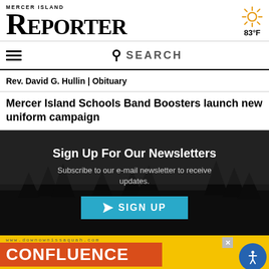MERCER ISLAND REPORTER
[Figure (illustration): Sun weather icon with orange rays, showing 83°F temperature]
[Figure (infographic): Hamburger menu icon (three horizontal lines) and SEARCH bar]
Rev. David G. Hullin | Obituary
Mercer Island Schools Band Boosters launch new uniform campaign
[Figure (infographic): Newsletter signup banner with dark forest background. Title: Sign Up For Our Newsletters. Subtitle: Subscribe to our e-mail newsletter to receive updates. Blue SIGN UP button with paper plane icon.]
[Figure (infographic): Yellow advertisement banner showing www.downownissaquah.com URL, close button, orange CONFLUENCE text, and accessibility button (blue circle with person icon)]